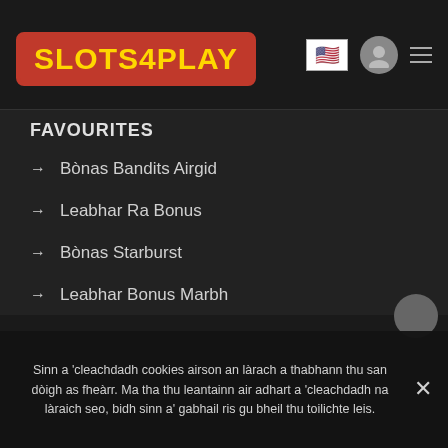[Figure (logo): Slots4Play logo in red box with yellow text]
FAVOURITES
→ Bònas Bandits Airgid
→ Leabhar Ra Bonus
→ Bònas Starburst
→ Leabhar Bonus Marbh
Sinn a 'cleachdadh cookies airson an làrach a thabhann thu san dòigh as fheàrr. Ma tha thu leantainn air adhart a 'cleachdadh na làraich seo, bidh sinn a' gabhail ris gu bheil thu toilichte leis.